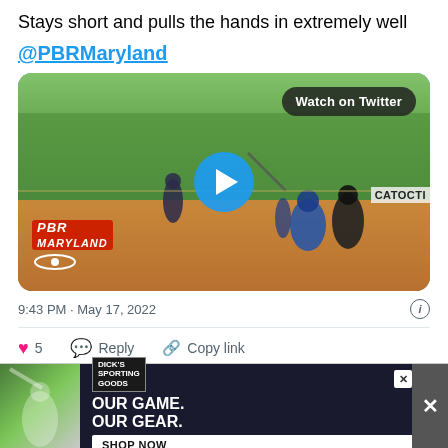Stays short and pulls the hands in extremely well
@PBRMaryland
[Figure (screenshot): Embedded Twitter/X video thumbnail showing a baseball game scene with a batter, catcher, and umpire at home plate. PBR Maryland logo visible in lower left. 'CATOCTI' watermark in lower right. 'Watch on Twitter' button in upper right. Blue play button circle in center.]
9:43 PM · May 17, 2022
5  Reply  Copy link
[Figure (screenshot): Dick's Sporting Goods advertisement banner reading 'OUR GAME. OUR GEAR.' with SHOP NOW button and close buttons.]